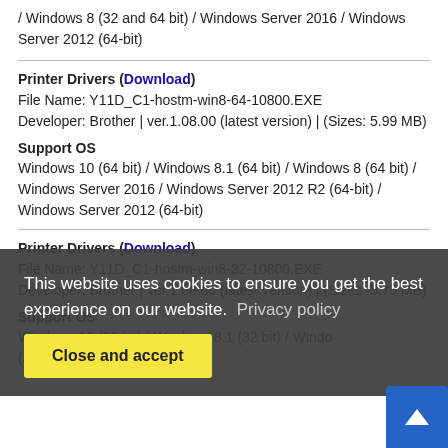/ Windows 8 (32 and 64 bit) / Windows Server 2016 / Windows Server 2012 (64-bit)
Printer Drivers (Download)
File Name: Y11D_C1-hostm-win8-64-10800.EXE
Developer: Brother | ver.1.08.00 (latest version) | (Sizes: 5.99 MB)
Support OS
Windows 10 (64 bit) / Windows 8.1 (64 bit) / Windows 8 (64 bit) / Windows Server 2016 / Windows Server 2012 R2 (64-bit) / Windows Server 2012 (64-bit)
Printer Drivers (Download)
File Name: Y11D_C1-hostm-win8-32-10800.EXE
Developer: Brother | ver.1.08.00 (latest version) | (Sizes: 5.75 MB)
Support OS
Windows 10 (32 bit) / Windows 8.1 (32 bit) / Windows (32 bit)
This website uses cookies to ensure you get the best experience on our website.  Privacy policy
Close and accept